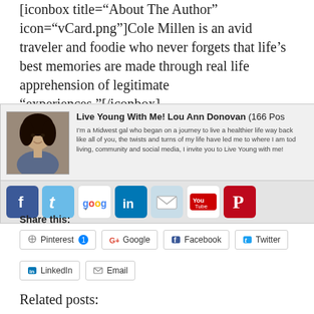[iconbox title="About The Author" icon="vCard.png"]Cole Millen is an avid traveler and foodie who never forgets that life’s best memories are made through real life apprehension of legitimate “experiences.”[/iconbox]
[Figure (other): Author bio box for Live Young With Me! Lou Ann Donovan (166 Posts) with photo and social media icons (Facebook, Twitter, Google+, LinkedIn, Email, YouTube, Pinterest)]
Share this:
Pinterest 1
Google
Facebook
Twitter
LinkedIn
Email
Related posts: